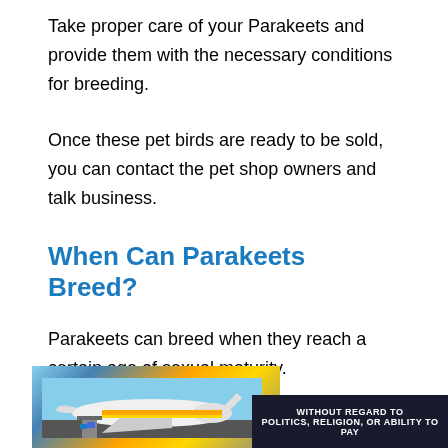Take proper care of your Parakeets and provide them with the necessary conditions for breeding.
Once these pet birds are ready to be sold, you can contact the pet shop owners and talk business.
When Can Parakeets Breed?
Parakeets can breed when they reach a certain age of sexual maturity.
In most cases, they get mature once they are 6
[Figure (photo): Advertisement banner showing an airplane being loaded with cargo, with a dark badge reading 'WITHOUT REGARD TO POLITICS, RELIGION, OR ABILITY TO PAY']